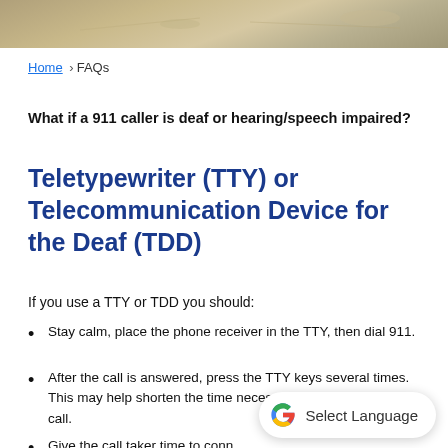[Figure (photo): Decorative header banner image with muted tan/beige tones]
Home › FAQs
What if a 911 caller is deaf or hearing/speech impaired?
Teletypewriter (TTY) or Telecommunication Device for the Deaf (TDD)
If you use a TTY or TDD you should:
Stay calm, place the phone receiver in the TTY, then dial 911.
After the call is answered, press the TTY keys several times. This may help shorten the time necessary to respond to the call.
Give the call taker time to conn... necessary, press the TTY keys again. The 911 call taker should be monitoring...